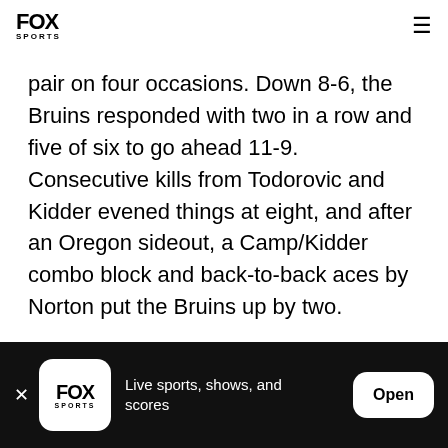FOX SPORTS
pair on four occasions. Down 8-6, the Bruins responded with two in a row and five of six to go ahead 11-9. Consecutive kills from Todorovic and Kidder evened things at eight, and after an Oregon sideout, a Camp/Kidder combo block and back-to-back aces by Norton put the Bruins up by two.
Live sports, shows, and scores  Open